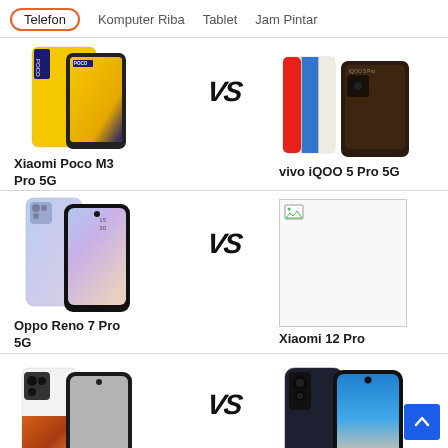Telefon | Komputer Riba | Tablet | Jam Pintar
[Figure (illustration): Comparison row 1: Xiaomi Poco M3 Pro 5G vs vivo iQOO 5 Pro 5G phone images with VS logo in center]
Xiaomi Poco M3 Pro 5G
vivo iQOO 5 Pro 5G
[Figure (illustration): Comparison row 2: Oppo Reno 7 Pro 5G vs Xiaomi 12 Pro phone images with VS logo in center]
Oppo Reno 7 Pro 5G
Xiaomi 12 Pro
[Figure (illustration): Comparison row 3: Xiaomi 11T Pro vs vivo X70 Pro phone images with VS logo in center]
Xiaomi 11T Pro
vivo X70 Pro